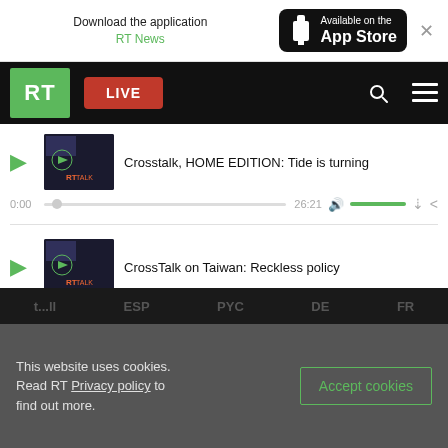[Figure (screenshot): App download banner: 'Download the application RT News' with App Store button and close X]
[Figure (screenshot): RT navigation bar with green RT logo, red LIVE button, search and menu icons]
Crosstalk, HOME EDITION: Tide is turning
0:00  26:21
CrossTalk on Taiwan: Reckless policy
0:00  24:2
t... ll  ESP  PYC  DE  FR
This website uses cookies. Read RT Privacy policy to find out more.
Accept cookies